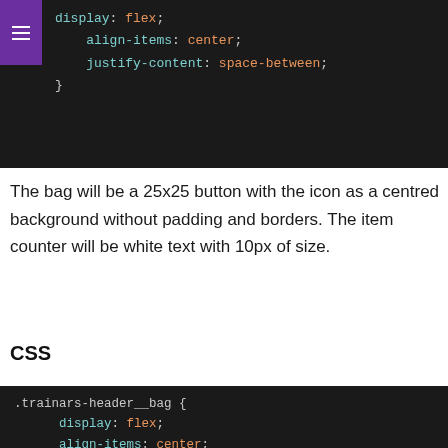[Figure (screenshot): Dark code block showing CSS snippet with display: flex; align-items: center; justify-content: space-between; and closing brace. Purple hamburger menu icon on left.]
The bag will be a 25x25 button with the icon as a centred background without padding and borders. The item counter will be white text with 10px of size.
CSS
[Figure (screenshot): Dark code block showing CSS for .trainars-header__bag { display: flex; align-items: center; justify-content: center; height: 25px; width: 25px; background-size: contain; background-repeat: no-repeat; }]